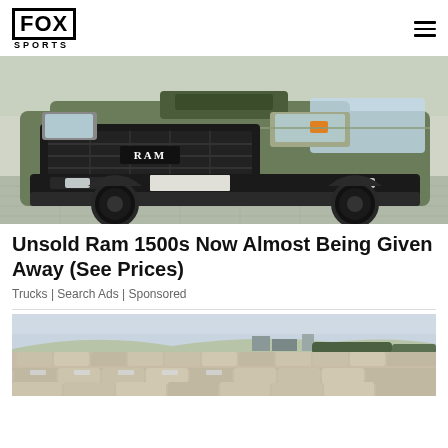FOX SPORTS
[Figure (photo): Front view of a matte olive green Ram 1500 truck with large off-road tires and RAM grille badging]
Unsold Ram 1500s Now Almost Being Given Away (See Prices)
Trucks | Search Ads | Sponsored
[Figure (photo): Aerial view of a large parking lot filled with rows of unsold vehicles]